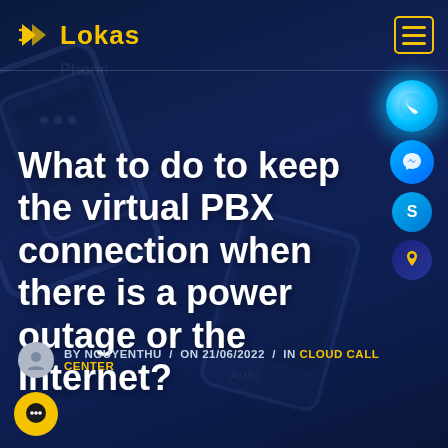[Figure (screenshot): Lokas website header with logo and hamburger menu on dark navy background with phone/device imagery]
Lokas
What to do to keep the virtual PBX connection when there is a power outage or the Internet?
BY NGUYENTHU / ON 21/06/2022 / IN CLOUD CALL CENTER